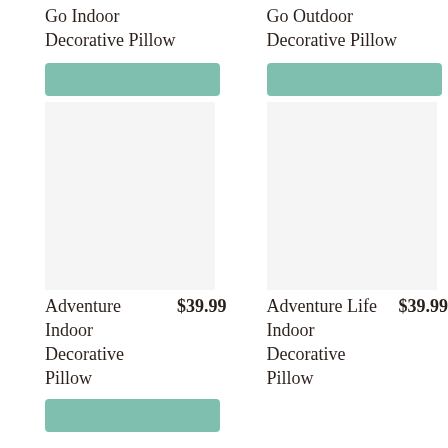Go Indoor
Decorative Pillow
[Figure (other): Teal/green rectangular button placeholder for Go Indoor Decorative Pillow]
Go Outdoor
Decorative Pillow
[Figure (other): Teal/green rectangular button placeholder for Go Outdoor Decorative Pillow]
[Figure (photo): Adventure Indoor Decorative Pillow product image placeholder]
[Figure (photo): Adventure Life Indoor Decorative Pillow product image placeholder]
Adventure Indoor Decorative Pillow
$39.99
Adventure Life Indoor Decorative Pillow
$39.99
[Figure (other): Teal/green rectangular button placeholder for Adventure Indoor Decorative Pillow]